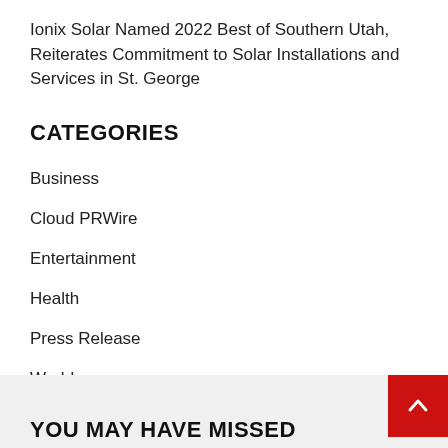Ionix Solar Named 2022 Best of Southern Utah, Reiterates Commitment to Solar Installations and Services in St. George
CATEGORIES
Business
Cloud PRWire
Entertainment
Health
Press Release
World
YOU MAY HAVE MISSED